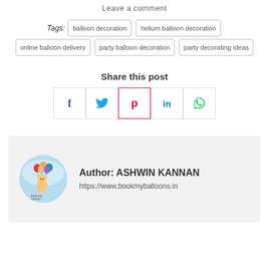Leave a comment
Tags: balloon decoration   helium balloon decoration   online balloon delivery   party balloon decoration   party decorating ideas
Share this post
[Figure (infographic): Social sharing buttons: Facebook (f), Twitter (bird), Pinterest (P), LinkedIn (in), WhatsApp (phone)]
[Figure (logo): Book My Balloon circular logo with colorful balloons and a teddy bear]
Author: ASHWIN KANNAN
https://www.bookmyballoons.in